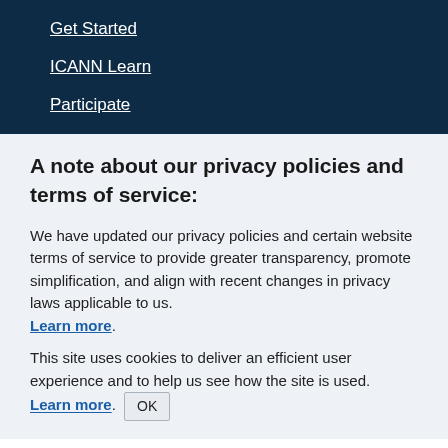Get Started
ICANN Learn
Participate
A note about our privacy policies and terms of service:
We have updated our privacy policies and certain website terms of service to provide greater transparency, promote simplification, and align with recent changes in privacy laws applicable to us. Learn more.
This site uses cookies to deliver an efficient user experience and to help us see how the site is used. Learn more. OK